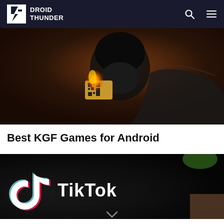DROID THUNDER
[Figure (photo): Dark moody photo of a bearded man holding a burning card with a QR code on it, wearing a black leather jacket — KGF game promotional image]
Best KGF Games for Android
[Figure (photo): TikTok logo sign displayed on a dark background with blurred colorful elements behind it]